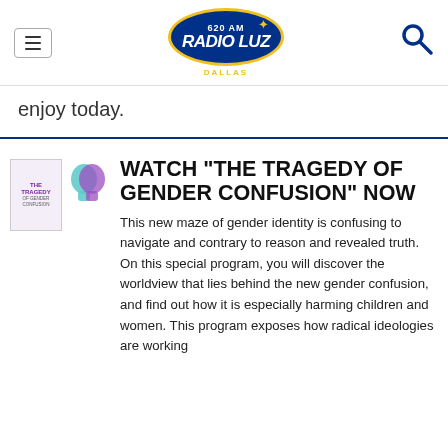620 AM Radio Luz Dallas
enjoy today.
[Figure (logo): Thumbnail image for 'The Tragedy of Gender Confusion' showing text and stylized human head silhouettes in purple and teal]
WATCH "THE TRAGEDY OF GENDER CONFUSION" NOW
This new maze of gender identity is confusing to navigate and contrary to reason and revealed truth. On this special program, you will discover the worldview that lies behind the new gender confusion, and find out how it is especially harming children and women. This program exposes how radical ideologies are working